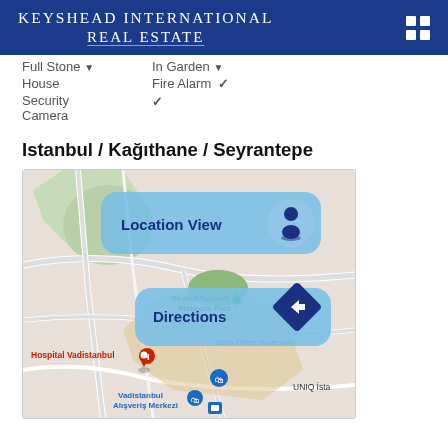Keyshead International Real Estate
Full Stone ▼   In Garden ▼
House   Fire Alarm ✓
Security Camera ✓
Istanbul / Kağıthane / Seyrantepe
[Figure (map): Google Maps view of Istanbul / Kağıthane / Seyrantepe area showing Hospital Vadistanbul, Vadistanbul Alışveriş Merkezi, Geyikli Turkcell Platinum Park, Seba Office Boulevard, UNIQ İsta, with 'Location View' and 'Directions' overlay buttons.]